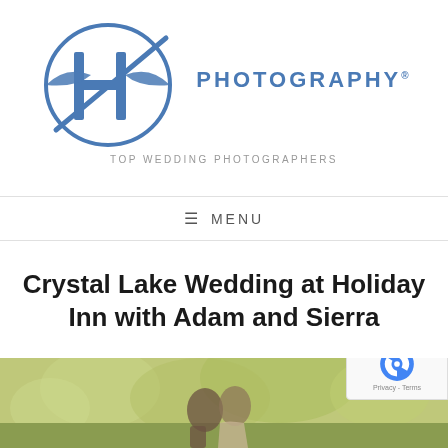[Figure (logo): H Photography logo with stylized H letter in blue circle and photography text with registered trademark]
TOP WEDDING PHOTOGRAPHERS
≡ MENU
Crystal Lake Wedding at Holiday Inn with Adam and Sierra
[Figure (photo): Outdoor wedding photo of couple (Adam and Sierra) in a garden/nature setting with green bokeh background]